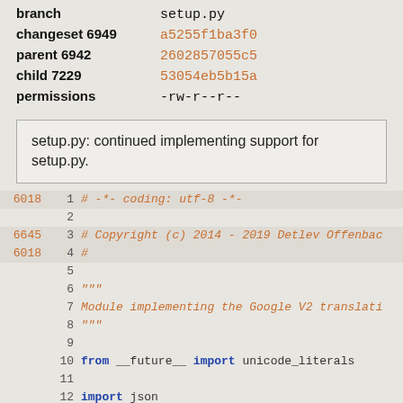| field | value |
| --- | --- |
| branch | setup.py |
| changeset 6949 | a5255f1ba3f0 |
| parent 6942 | 2602857055c5 |
| child 7229 | 53054eb5b15a |
| permissions | -rw-r--r-- |
setup.py: continued implementing support for setup.py.
[Figure (screenshot): Code viewer showing lines 1-17 of setup.py with revision numbers on the left. Line 1: # -*- coding: utf-8 -*-  (rev 6018), Line 2: empty, Line 3: # Copyright (c) 2014 - 2019 Detlev Offenbac... (rev 6645), Line 4: # (rev 6018), Lines 5-9: empty/docstring, Line 10: from __future__ import unicode_literals, Line 11: empty, Line 12: import json, Line 13: empty, Line 14: from PyQt5.QtCore import QUrl, QTimer (rev 6412), Line 15: empty (rev 6018), Line 16: from .TranslationEngine import TranslationE..., Line 17: empty]